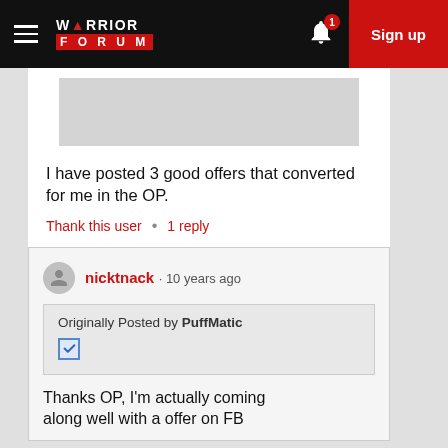Warrior Forum — Sign up
[Figure (screenshot): Gray image placeholder at top of post]
I have posted 3 good offers that converted for me in the OP.
Thank this user  •  1 reply
nicktnack · 10 years ago
Originally Posted by PuffMatic
Thanks OP, I'm actually coming along well with a offer on FB